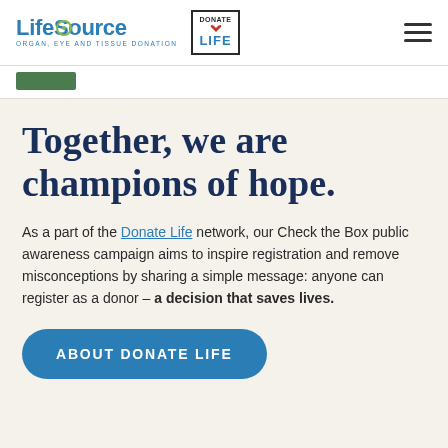LifeSource ORGAN, EYE AND TISSUE DONATION | Donate Life
[Figure (other): Green bar/rectangle element below header]
Together, we are champions of hope.
As a part of the Donate Life network, our Check the Box public awareness campaign aims to inspire registration and remove misconceptions by sharing a simple message: anyone can register as a donor – a decision that saves lives.
ABOUT DONATE LIFE